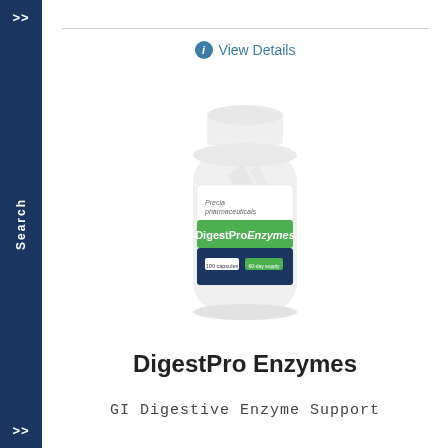View Details
[Figure (photo): A white supplement bottle labeled DigestProEnzymes with a green label band and dark navy blue lower label section, made by Precia Pharmaceuticals.]
DigestPro Enzymes
GI Digestive Enzyme Support